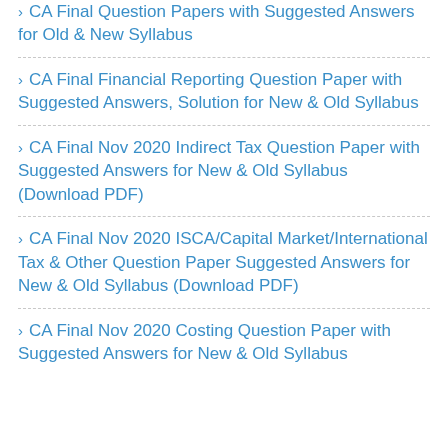CA Final Question Papers with Suggested Answers for Old & New Syllabus
CA Final Financial Reporting Question Paper with Suggested Answers, Solution for New & Old Syllabus
CA Final Nov 2020 Indirect Tax Question Paper with Suggested Answers for New & Old Syllabus (Download PDF)
CA Final Nov 2020 ISCA/Capital Market/International Tax & Other Question Paper Suggested Answers for New & Old Syllabus (Download PDF)
CA Final Nov 2020 Costing Question Paper with Suggested Answers for New & Old Syllabus